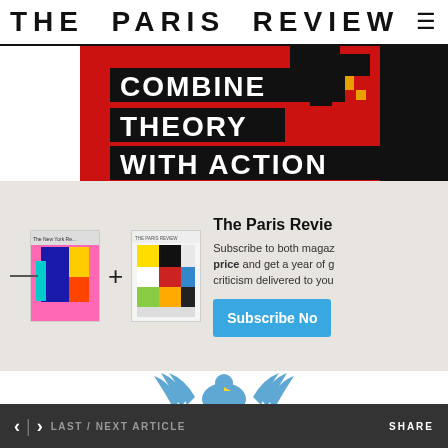THE PARIS REVIEW
[Figure (illustration): Red, black and white advertisement banner reading 'COMBINE THEORY WITH ACTION' in bold white text on red and black background]
[Figure (infographic): Subscription promotion showing New York Review magazine cover plus The Paris Review magazine cover with a plus sign between them]
The Paris Revie
Subscribe to both magaz price and get a year of g criticism delivered to you
[Figure (illustration): Blue eagle/emblem illustration at bottom of page]
< > LAST / NEXT ARTICLE   SHARE